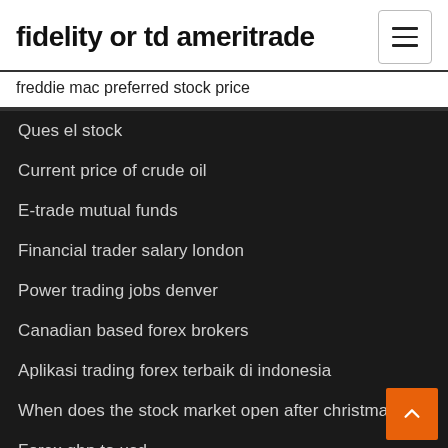fidelity or td ameritrade
freddie mac preferred stock price
Ques el stock
Current price of crude oil
E-trade mutual funds
Financial trader salary london
Power trading jobs denver
Canadian based forex brokers
Aplikasi trading forex terbaik di indonesia
When does the stock market open after christmas uk
Forex gbp to usd
Relation between gold and us dollar